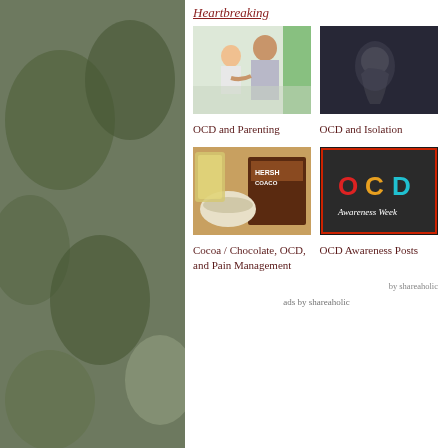Heartbreaking
[Figure (photo): Woman and child - OCD and Parenting thumbnail]
OCD and Parenting
[Figure (photo): Person in dark - OCD and Isolation thumbnail]
OCD and Isolation
[Figure (photo): Cocoa and chocolate ingredients]
Cocoa / Chocolate, OCD, and Pain Management
[Figure (logo): OCD Awareness Week logo - colorful text on dark background]
OCD Awareness Posts
by shareaholic
ads by shareaholic